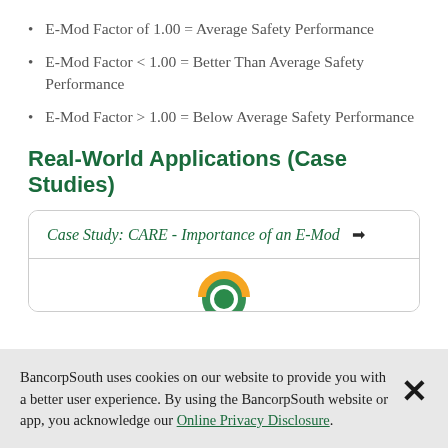E-Mod Factor of 1.00 = Average Safety Performance
E-Mod Factor < 1.00 = Better Than Average Safety Performance
E-Mod Factor > 1.00 = Below Average Safety Performance
Real-World Applications (Case Studies)
[Figure (screenshot): Case study card with link: 'Case Study: CARE - Importance of an E-Mod' with arrow icon and partial CARE logo visible at bottom]
BancorpSouth uses cookies on our website to provide you with a better user experience. By using the BancorpSouth website or app, you acknowledge our Online Privacy Disclosure.